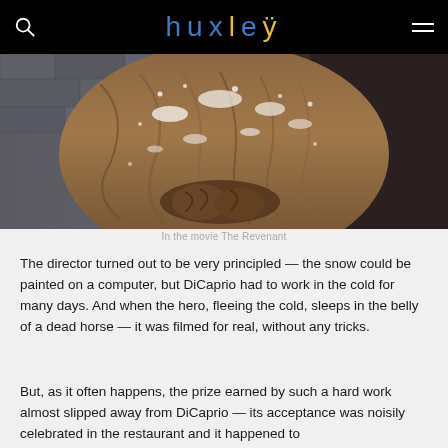huxley
[Figure (photo): A person wearing a fur coat and gloves, covered in snow, from the movie The Revenant]
In the movie The Revenant
The director turned out to be very principled — the snow could be painted on a computer, but DiCaprio had to work in the cold for many days. And when the hero, fleeing the cold, sleeps in the belly of a dead horse — it was filmed for real, without any tricks.
But, as it often happens, the prize earned by such a hard work almost slipped away from DiCaprio — its acceptance was noisily celebrated in the restaurant and it happened to be...